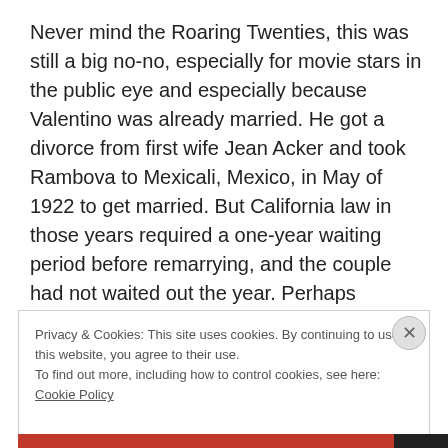Never mind the Roaring Twenties, this was still a big no-no, especially for movie stars in the public eye and especially because Valentino was already married. He got a divorce from first wife Jean Acker and took Rambova to Mexicali, Mexico, in May of 1922 to get married. But California law in those years required a one-year waiting period before remarrying, and the couple had not waited out the year. Perhaps Valentino didn't know about the law; perhaps he thought he could safely ignore it. He could not.
Privacy & Cookies: This site uses cookies. By continuing to use this website, you agree to their use.
To find out more, including how to control cookies, see here: Cookie Policy